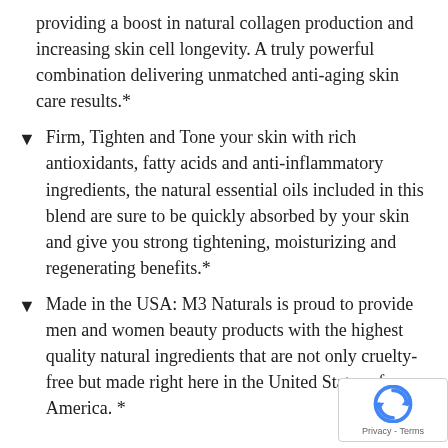providing a boost in natural collagen production and increasing skin cell longevity. A truly powerful combination delivering unmatched anti-aging skin care results.*
Firm, Tighten and Tone your skin with rich antioxidants, fatty acids and anti-inflammatory ingredients, the natural essential oils included in this blend are sure to be quickly absorbed by your skin and give you strong tightening, moisturizing and regenerating benefits.*
Made in the USA: M3 Naturals is proud to provide men and women beauty products with the highest quality natural ingredients that are not only cruelty-free but made right here in the United States of America. *